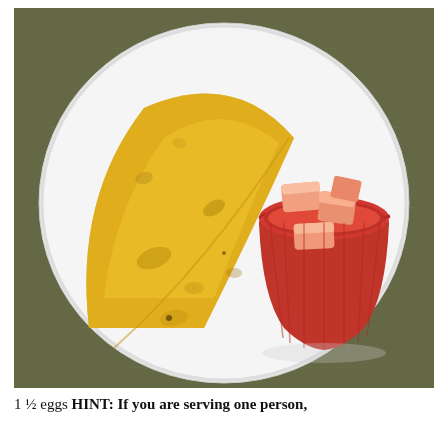[Figure (photo): An overhead view of a white plate on an olive/dark green textured surface. On the plate is a folded yellow omelette on the left side and a red silicone cupcake cup on the right containing several pieces of cut cantaloupe or similar orange-pink melon.]
1 ½ eggs HINT: If you are serving one person,